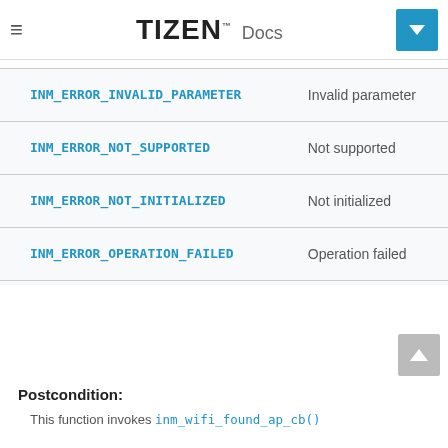TIZEN Docs
| Enumerator | Description |
| --- | --- |
| INM_ERROR_INVALID_PARAMETER | Invalid parameter |
| INM_ERROR_NOT_SUPPORTED | Not supported |
| INM_ERROR_NOT_INITIALIZED | Not initialized |
| INM_ERROR_OPERATION_FAILED | Operation failed |
Postcondition:
This function invokes inm_wifi_found_ap_cb()